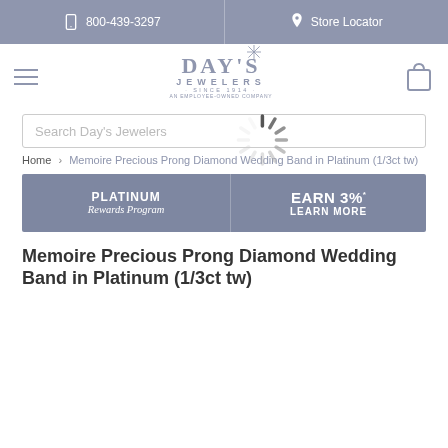800-439-3297  |  Store Locator
[Figure (logo): Day's Jewelers logo with hamburger menu and shopping cart icon]
Search Day's Jewelers
Home > Memoire Precious Prong Diamond Wedding Band in Platinum (1/3ct tw)
[Figure (infographic): Platinum Rewards Program banner: EARN 3%* LEARN MORE]
Memoire Precious Prong Diamond Wedding Band in Platinum (1/3ct tw)